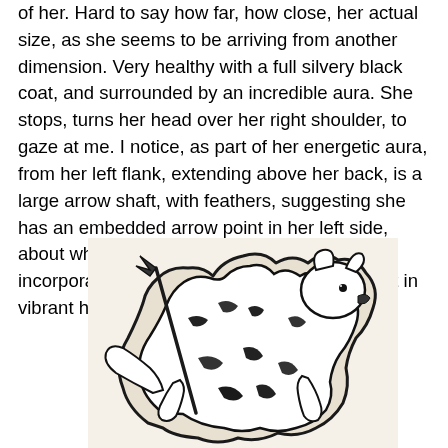of her. Hard to say how far, how close, her actual size, as she seems to be arriving from another dimension. Very healthy with a full silvery black coat, and surrounded by an incredible aura. She stops, turns her head over her right shoulder, to gaze at me. I notice, as part of her energetic aura, from her left flank, extending above her back, is a large arrow shaft, with feathers, suggesting she has an embedded arrow point in her left side, about where I am to be pierced. Her aura incorporates the arrow, as if she is living with it in vibrant health…"
[Figure (illustration): A black ink illustration of a cat or wolf-like animal with an arrow embedded in its left flank, shown in a dynamic leaping or walking pose with head turned, surrounded by an aura-like outline.]